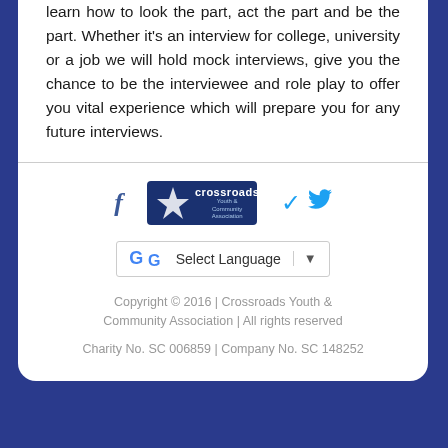learn how to look the part, act the part and be the part. Whether it's an interview for college, university or a job we will hold mock interviews, give you the chance to be the interviewee and role play to offer you vital experience which will prepare you for any future interviews.
[Figure (logo): Crossroads Youth & Community Association logo with social media icons (Facebook, Twitter) and Google Translate selector]
Copyright © 2016 | Crossroads Youth & Community Association | All rights reserved
Charity No. SC 006859 | Company No. SC 148252